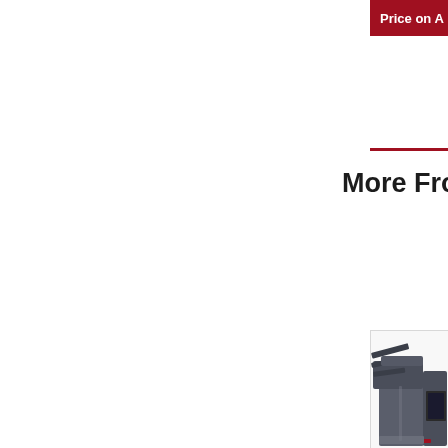Price on A
More From T
[Figure (photo): Partial view of a large office multifunction printer/copier with document sorter/finisher, dark gray color, shown from front-right angle. The device appears to be a Kyocera or similar brand commercial MFP.]